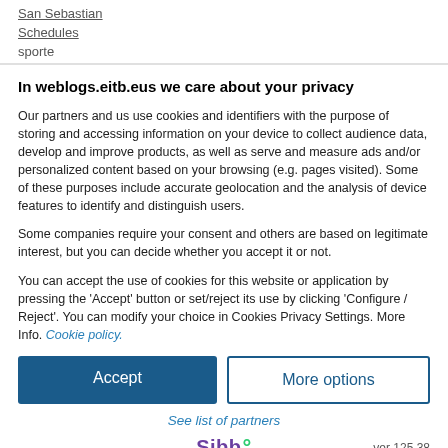San Sebastian
Schedules
sporte
In weblogs.eitb.eus we care about your privacy
Our partners and us use cookies and identifiers with the purpose of storing and accessing information on your device to collect audience data, develop and improve products, as well as serve and measure ads and/or personalized content based on your browsing (e.g. pages visited). Some of these purposes include accurate geolocation and the analysis of device features to identify and distinguish users.
Some companies require your consent and others are based on legitimate interest, but you can decide whether you accept it or not.
You can accept the use of cookies for this website or application by pressing the 'Accept' button or set/reject its use by clicking 'Configure / Reject'. You can modify your choice in Cookies Privacy Settings. More Info. Cookie policy.
Accept
More options
See list of partners
Sibb° ver 125.38